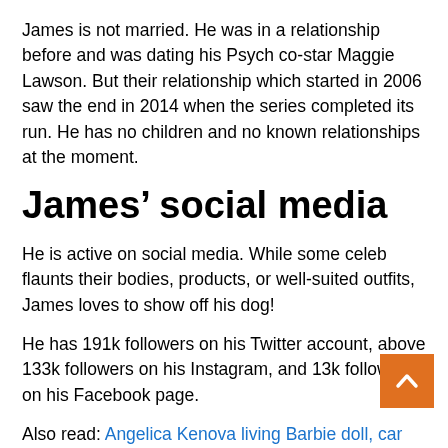James is not married. He was in a relationship before and was dating his Psych co-star Maggie Lawson. But their relationship which started in 2006 saw the end in 2014 when the series completed its run. He has no children and no known relationships at the moment.
James’ social media
He is active on social media. While some celeb flaunts their bodies, products, or well-suited outfits, James loves to show off his dog!
He has 191k followers on his Twitter account, above 133k followers on his Instagram, and 13k followers on his Facebook page.
Also read: Angelica Kenova living Barbie doll, car Instagram, age, net worth, body measurements,